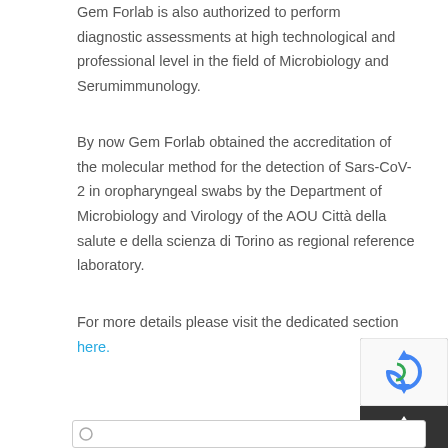Gem Forlab is also authorized to perform diagnostic assessments at high technological and professional level in the field of Microbiology and Serumimmunology.
By now Gem Forlab obtained the accreditation of the molecular method for the detection of Sars-CoV-2 in oropharyngeal swabs by the Department of Microbiology and Virology of the AOU Città della salute e della scienza di Torino as regional reference laboratory.
For more details please visit the dedicated section here.
[Figure (other): reCAPTCHA widget and scroll-to-top button in the bottom right corner]